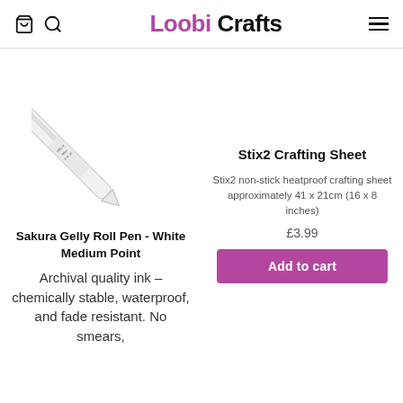Loobi Crafts
[Figure (photo): A white Sakura Gelly Roll pen shown diagonally]
Sakura Gelly Roll Pen - White Medium Point
Archival quality ink – chemically stable, waterproof, and fade resistant. No smears,
Stix2 Crafting Sheet
Stix2 non-stick heatproof crafting sheet approximately 41 x 21cm (16 x 8 inches)
£3.99
Add to cart